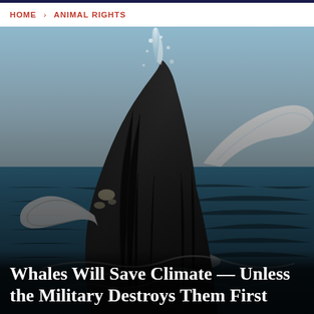HOME > ANIMAL RIGHTS
[Figure (photo): Humpback whale breaching dramatically out of the ocean, body nearly vertical with white water splashing around its fins and tail, blue ocean and sky in background]
Whales Will Save Climate — Unless the Military Destroys Them First